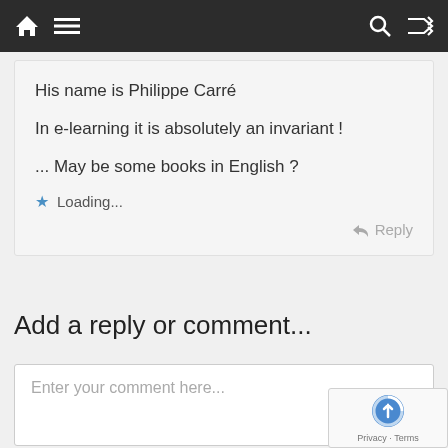Navigation bar with home, menu, search and shuffle icons
His name is Philippe Carré

In e-learning it is absolutely an invariant!

... May be some books in English ?
Loading...
Reply
Add a reply or comment...
Enter your comment here...